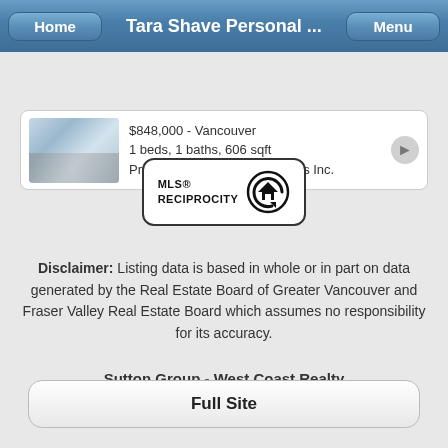Tara Shave Personal ...
$848,000 - Vancouver
1 beds, 1 baths, 606 sqft
Prompton Real Estate Services Inc.
[Figure (logo): MLS Reciprocity logo — rounded rectangle border with MLS® RECIPROCITY text and house icon]
Disclaimer: Listing data is based in whole or in part on data generated by the Real Estate Board of Greater Vancouver and Fraser Valley Real Estate Board which assumes no responsibility for its accuracy.
Sutton Group - West Coast Realty
301 1508 West Broadway, Vancouver BC
Full Site